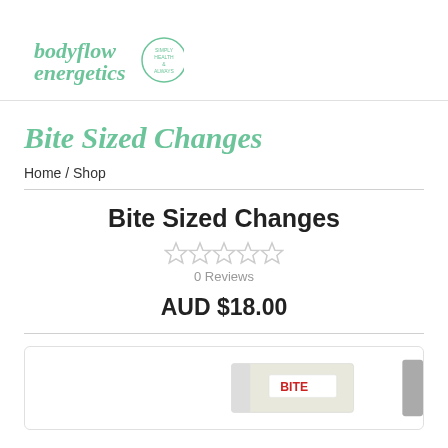[Figure (logo): Bodyflow Energetics logo in green cursive with circular badge text]
Bite Sized Changes
Home / Shop
Bite Sized Changes
[Figure (other): 5 empty/grey star rating icons]
0 Reviews
AUD $18.00
[Figure (photo): Partially visible product image showing a book or card with BITE branding text, inside a rounded rectangle box]